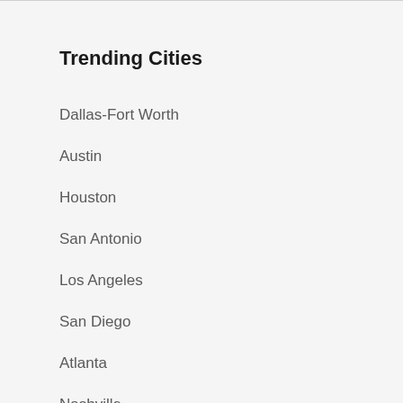Trending Cities
Dallas-Fort Worth
Austin
Houston
San Antonio
Los Angeles
San Diego
Atlanta
Nashville